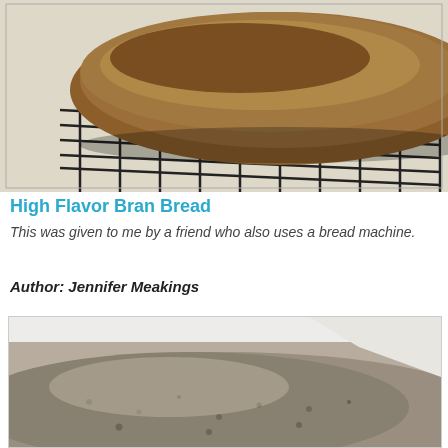[Figure (photo): Photo of a bran bread loaf sitting on a wire cooling rack, viewed from above at an angle.]
High Flavor Bran Bread
This was given to me by a friend who also uses a bread machine.
Author: Jennifer Meakings
[Figure (photo): Close-up photo of the top surface of a bran bread loaf showing its dense, textured crumb.]